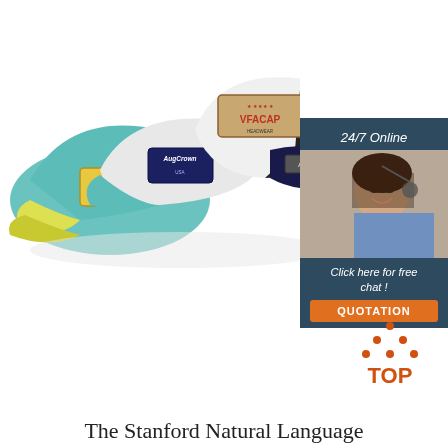[Figure (photo): Multiple branded trucker caps/baseball caps arranged together, including caps with patches reading 'VFACAP' and 'AugCrown', in colors including teal/yellow, white/black, and dark navy/red.]
[Figure (photo): Customer service agent woman with headset smiling, inside a dark blue/teal chat widget panel. The panel shows '24/7 Online' at top, agent photo, 'Click here for free chat!' text, and an orange 'QUOTATION' button.]
[Figure (illustration): A 'TOP' back-to-top button icon: orange dotted triangle arrow pointing up above the word TOP in orange bold text.]
The Stanford Natural Language